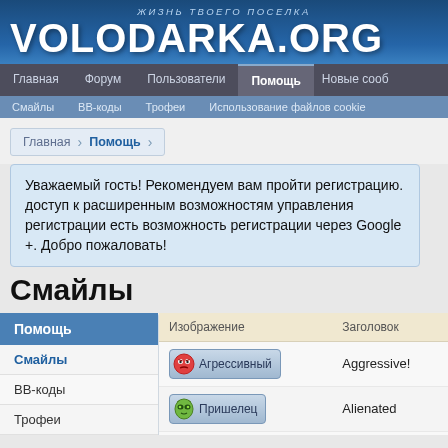ЖИЗНЬ ТВОЕГО ПОСЕЛКА
VOLODARKA.ORG
Главная | Форум | Пользователи | Помощь | Новые сооб...
Смайлы | BB-коды | Трофеи | Использование файлов cookie
Главная > Помощь
Уважаемый гость! Рекомендуем вам пройти регистрацию. доступ к расширенным возможностям управления регистрации есть возможность регистрации через Google +. Добро пожаловать!
Смайлы
Помощь
Смайлы
BB-коды
Трофеи
| Изображение | Заголовок |
| --- | --- |
| Агрессивный | Aggressive! |
| Пришелец | Alienated |